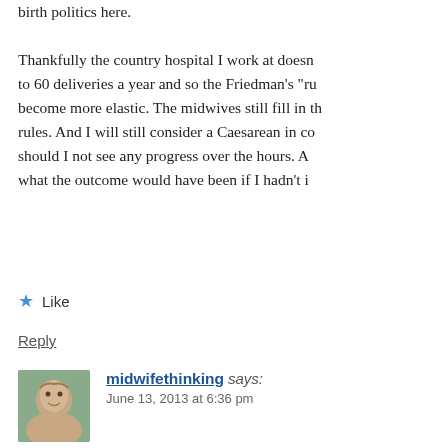birth politics here.

Thankfully the country hospital I work at doesn to 60 deliveries a year and so the Friedman's "ru become more elastic. The midwives still fill in th rules. And I will still consider a Caesarean in co should I not see any progress over the hours. A what the outcome would have been if I hadn't i
Like
Reply
midwifethinking says:
June 13, 2013 at 6:36 pm
I doubt that Friedman would get his stu today!
Country hospitals are often great places bustle and bustle and timeframes impo